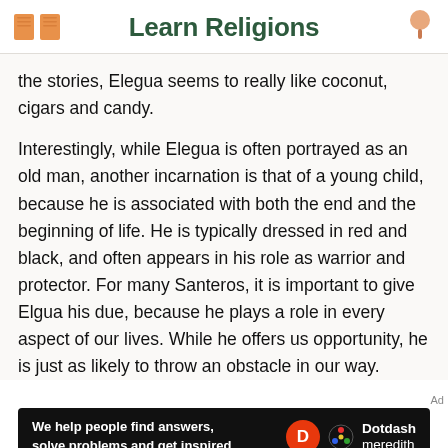Learn Religions
the stories, Elegua seems to really like coconut, cigars and candy.
Interestingly, while Elegua is often portrayed as an old man, another incarnation is that of a young child, because he is associated with both the end and the beginning of life. He is typically dressed in red and black, and often appears in his role as warrior and protector. For many Santeros, it is important to give Elgua his due, because he plays a role in every aspect of our lives. While he offers us opportunity, he is just as likely to throw an obstacle in our way.
[Figure (other): Dotdash Meredith advertisement banner: 'We help people find answers, solve problems and get inspired.' with Dotdash Meredith logo on black background]